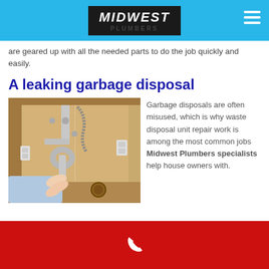MIDWEST
are geared up with all the needed parts to do the job quickly and easily.
A leaking garbage disposal
[Figure (photo): Under-sink plumbing with chrome P-trap and pipes visible, a hand pointing to a drain area on a wooden cabinet floor]
Garbage disposals are often misused, which is why waste disposal unit repair work is among the most common jobs Midwest Plumbers specialists help house owners with.
Phone contact footer with phone icon